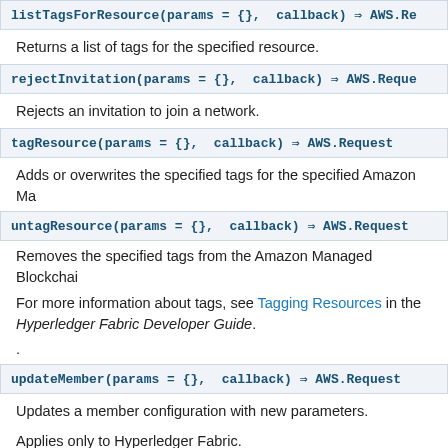listTagsForResource(params = {}, callback) ⇒ AWS.Re
Returns a list of tags for the specified resource.
rejectInvitation(params = {}, callback) ⇒ AWS.Reque
Rejects an invitation to join a network.
tagResource(params = {}, callback) ⇒ AWS.Request
Adds or overwrites the specified tags for the specified Amazon Ma
untagResource(params = {}, callback) ⇒ AWS.Request
Removes the specified tags from the Amazon Managed Blockchai
For more information about tags, see Tagging Resources in the Hyperledger Fabric Developer Guide.
.
updateMember(params = {}, callback) ⇒ AWS.Request
Updates a member configuration with new parameters.
Applies only to Hyperledger Fabric.